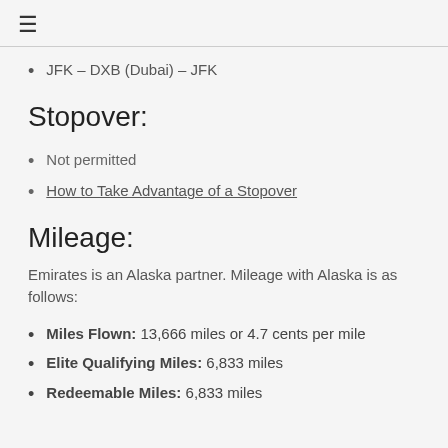≡
JFK – DXB (Dubai) – JFK
Stopover:
Not permitted
How to Take Advantage of a Stopover
Mileage:
Emirates is an Alaska partner. Mileage with Alaska is as follows:
Miles Flown: 13,666 miles or 4.7 cents per mile
Elite Qualifying Miles: 6,833 miles
Redeemable Miles: 6,833 miles